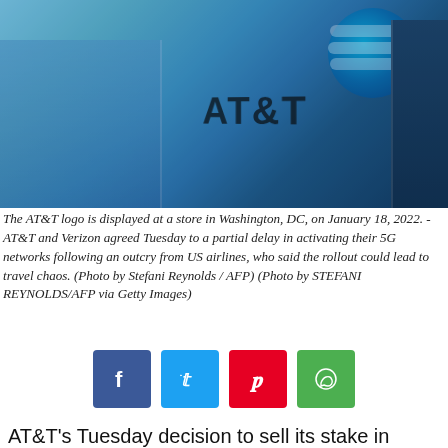[Figure (photo): AT&T store interior with AT&T logo displayed, blue-toned lighting]
The AT&T logo is displayed at a store in Washington, DC, on January 18, 2022. - AT&T and Verizon agreed Tuesday to a partial delay in activating their 5G networks following an outcry from US airlines, who said the rollout could lead to travel chaos. (Photo by Stefani Reynolds / AFP) (Photo by STEFANI REYNOLDS/AFP via Getty Images)
[Figure (infographic): Social sharing buttons: Facebook, Twitter, Pinterest, WhatsApp]
AT&T's Tuesday decision to sell its stake in WarnerMedia is not surprising, given CEO John Stankey's recent comments.
However, the move may disappoint those investors who had